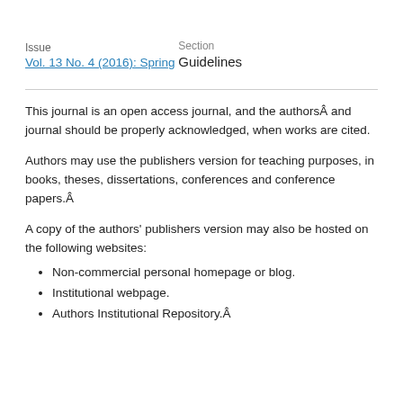Issue
Vol. 13 No. 4 (2016): Spring
Section
Guidelines
This journal is an open access journal, and the authorsÂ and journal should be properly acknowledged, when works are cited.
Authors may use the publishers version for teaching purposes, in books, theses, dissertations, conferences and conference papers.Â
A copy of the authors’ publishers version may also be hosted on the following websites:
Non-commercial personal homepage or blog.
Institutional webpage.
Authors Institutional Repository.Â